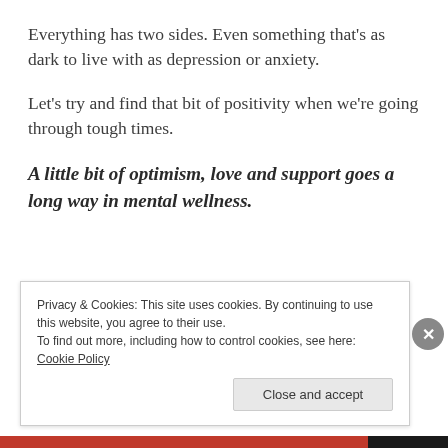Everything has two sides. Even something that's as dark to live with as depression or anxiety.
Let's try and find that bit of positivity when we're going through tough times.
A little bit of optimism, love and support goes a long way in mental wellness.
Privacy & Cookies: This site uses cookies. By continuing to use this website, you agree to their use.
To find out more, including how to control cookies, see here: Cookie Policy